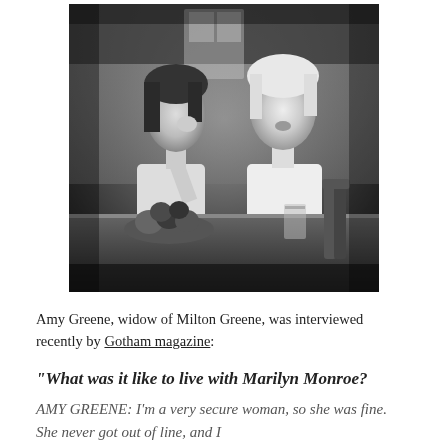[Figure (photo): Black and white photograph of two women seated at a table. The woman on the left has dark hair and is touching her face, wearing a collared top. The woman on the right has light/blonde hair and is wearing a short-sleeve top. A bowl of fruit is visible on the table in front of them, along with a glass.]
Amy Greene, widow of Milton Greene, was interviewed recently by Gotham magazine:
“What was it like to live with Marilyn Monroe?
AMY GREENE: I’m a very secure woman, so she was fine. She never got out of line, and I